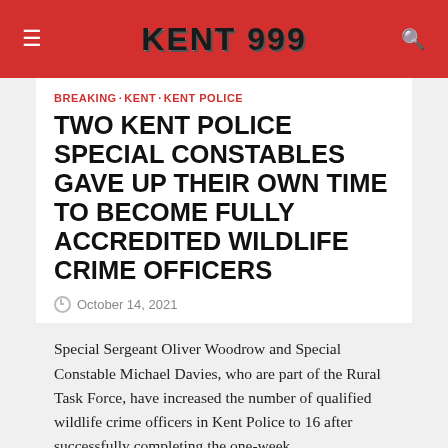KENT 999
BREAKING · KENT · KENT POLICE
TWO KENT POLICE SPECIAL CONSTABLES GAVE UP THEIR OWN TIME TO BECOME FULLY ACCREDITED WILDLIFE CRIME OFFICERS
October 14, 2021
Special Sergeant Oliver Woodrow and Special Constable Michael Davies, who are part of the Rural Task Force, have increased the number of qualified wildlife crime officers in Kent Police to 16 after successfully completing the one-week